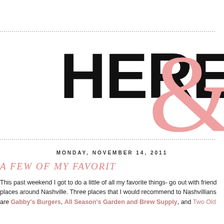HERE&
MONDAY, NOVEMBER 14, 2011
A FEW OF MY FAVORIT
This past weekend I got to do a little of all my favorite things- go out with frien... places around Nashville. Three places that I would recommend to Nashvillians are Gabby's Burgers, All Season's Garden and Brew Supply, and Two Old...